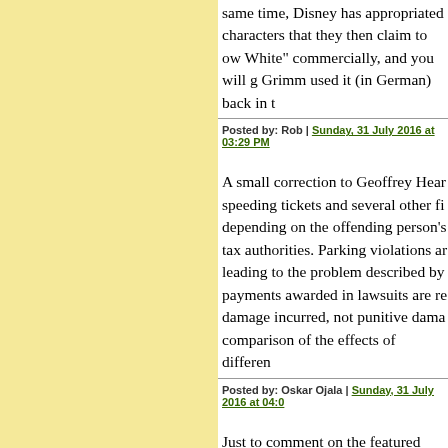same time, Disney has appropriated characters that they then claim to ow White" commercially, and you will g Grimm used it (in German) back in t
Posted by: Rob | Sunday, 31 July 2016 at 03:29 PM
A small correction to Geoffrey Hear speeding tickets and several other fi depending on the offending person's tax authorities. Parking violations ar leading to the problem described by payments awarded in lawsuits are re damage incurred, not punitive dama comparison of the effects of differen
Posted by: Oskar Ojala | Sunday, 31 July 2016 at 04:0
Just to comment on the featured com Finland aren't propotional to the ca